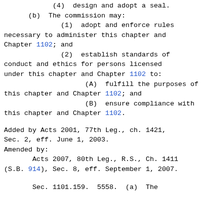(4)  design and adopt a seal.
(b)  The commission may:
(1)  adopt and enforce rules necessary to administer this chapter and Chapter 1102; and
(2)  establish standards of conduct and ethics for persons licensed under this chapter and Chapter 1102 to:
(A)  fulfill the purposes of this chapter and Chapter 1102; and
(B)  ensure compliance with this chapter and Chapter 1102.
Added by Acts 2001, 77th Leg., ch. 1421, Sec. 2, eff. June 1, 2003.
Amended by:
Acts 2007, 80th Leg., R.S., Ch. 1411 (S.B. 914), Sec. 8, eff. September 1, 2007.
Sec. 1101.159.  5558.  (a)  The